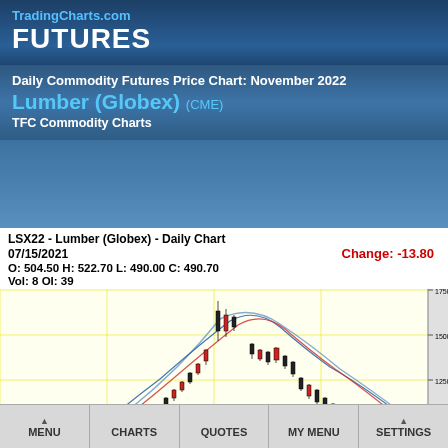TradingCharts.com FUTURES
Daily Commodity Futures Price Chart: November 2022
Lumber (Globex) (CME)
TFC Commodity Charts
[Figure (continuous-plot): Daily candlestick chart for LSX22 Lumber (Globex) showing price action with moving average curves. Chart shows a peak around 1750 and decline to around 1000. Y-axis labels: 1750.00, 1500.00, 1250.00, 1000.00. Yellow gridlines background.]
LSX22 - Lumber (Globex) - Daily Chart
07/15/2021
O: 504.50 H: 522.70 L: 490.00 C: 490.70
Vol: 8 OI: 39
Change: -13.80
MENU  CHARTS  QUOTES  MY MENU  SETTINGS